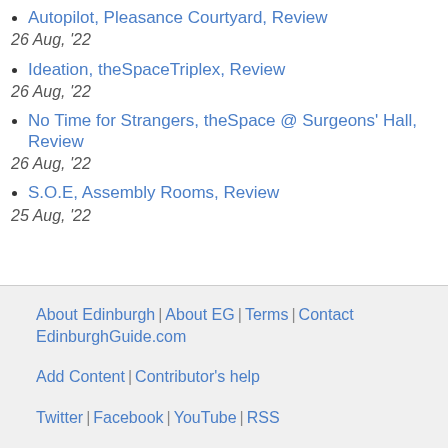Autopilot, Pleasance Courtyard, Review
26 Aug, '22
Ideation, theSpaceTriplex, Review
26 Aug, '22
No Time for Strangers, theSpace @ Surgeons' Hall, Review
26 Aug, '22
S.O.E, Assembly Rooms, Review
25 Aug, '22
About Edinburgh | About EG | Terms | Contact EdinburghGuide.com
Add Content | Contributor's help
Twitter | Facebook | YouTube | RSS